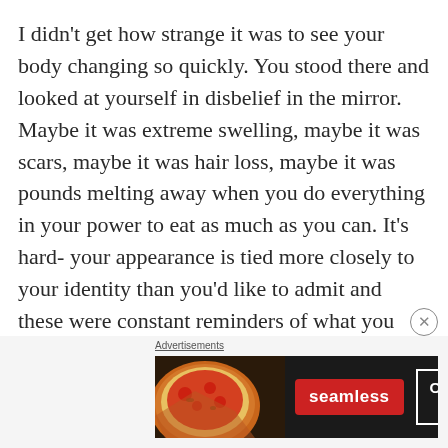I didn't get how strange it was to see your body changing so quickly. You stood there and looked at yourself in disbelief in the mirror. Maybe it was extreme swelling, maybe it was scars, maybe it was hair loss, maybe it was pounds melting away when you do everything in your power to eat as much as you can. It's hard- your appearance is tied more closely to your identity than you'd like to admit and these were constant reminders of what you were up against.
[Figure (other): Advertisement banner for Seamless food delivery with pizza image on left, red Seamless logo in center, and ORDER NOW button on right against dark background]